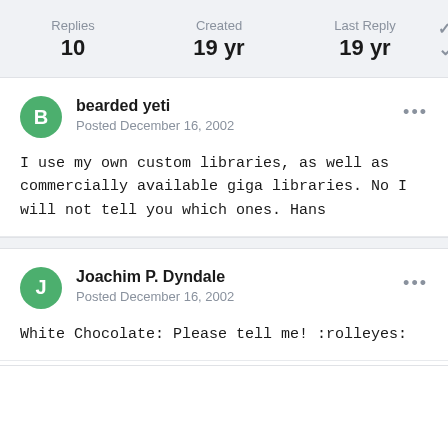| Replies | Created | Last Reply |
| --- | --- | --- |
| 10 | 19 yr | 19 yr |
bearded yeti
Posted December 16, 2002
I use my own custom libraries, as well as commercially available giga libraries. No I will not tell you which ones. Hans
Joachim P. Dyndale
Posted December 16, 2002
White Chocolate: Please tell me! :rolleyes: